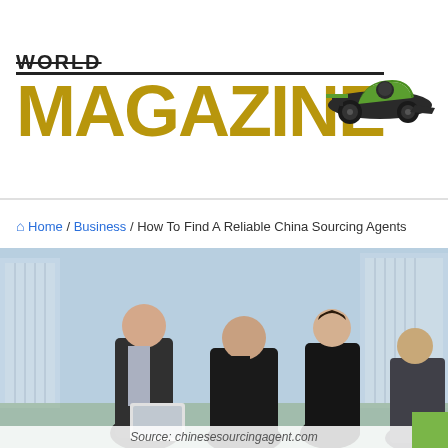[Figure (logo): World Magazine logo with gold MAGAZINE text and a race car illustration on the right side]
Home / Business / How To Find A Reliable China Sourcing Agents
[Figure (photo): Four business professionals in suits gathered around a laptop computer, with city skyscrapers in the background]
Source: chinesesourcingagent.com